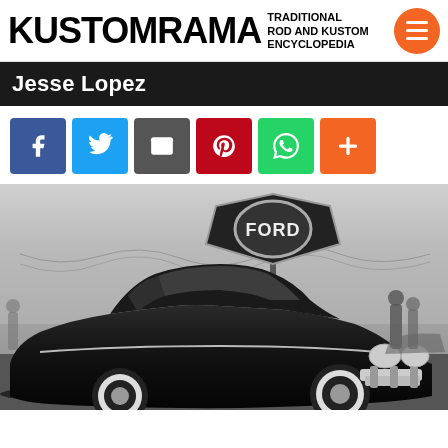KUSTOMRAMA TRADITIONAL ROD AND KUSTOM ENCYCLOPEDIA
Jesse Lopez
[Figure (screenshot): Social sharing buttons: Facebook, Twitter, Email, Pinterest, WhatsApp, and a plus/more button]
[Figure (photo): Black and white photograph of a customized lowered Ford automobile (kustom car) at an outdoor show, with a Ford dealership sign visible in the background. The car is a dark-colored chopped and lowered custom, with whitewall tires and a chrome front bumper. People and other vehicles are visible in the background.]